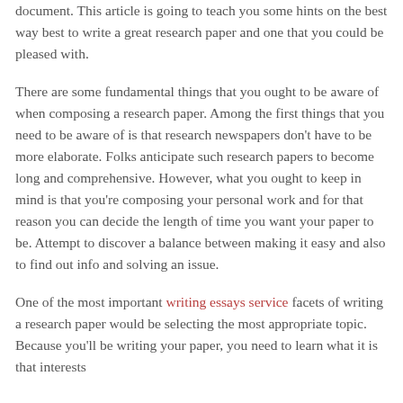document. This article is going to teach you some hints on the best way best to write a great research paper and one that you could be pleased with.
There are some fundamental things that you ought to be aware of when composing a research paper. Among the first things that you need to be aware of is that research newspapers don't have to be more elaborate. Folks anticipate such research papers to become long and comprehensive. However, what you ought to keep in mind is that you're composing your personal work and for that reason you can decide the length of time you want your paper to be. Attempt to discover a balance between making it easy and also to find out info and solving an issue.
One of the most important writing essays service facets of writing a research paper would be selecting the most appropriate topic. Because you'll be writing your paper, you need to learn what it is that interests